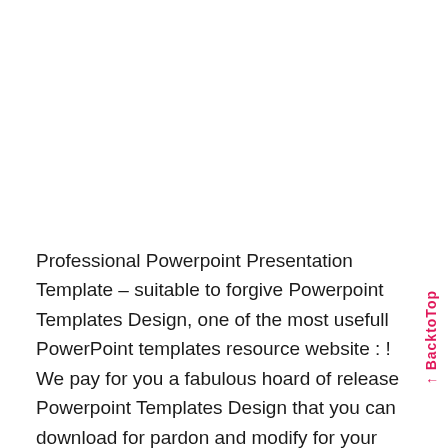Professional Powerpoint Presentation Template – suitable to forgive Powerpoint Templates Design, one of the most usefull PowerPoint templates resource website : ! We pay for you a fabulous hoard of release Powerpoint Templates Design that you can download for pardon and modify for your personal Presentations. Discovering and getting the most aligned and conventional Powerpoint